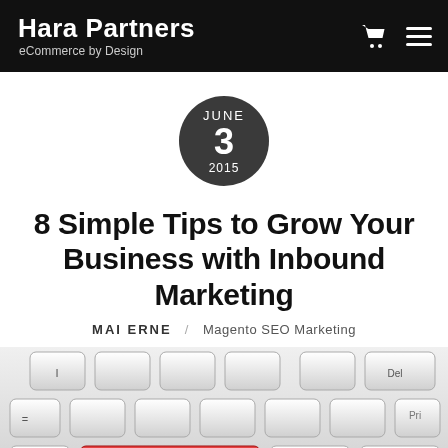Hara Partners — eCommerce by Design
JUNE 3 2015
8 Simple Tips to Grow Your Business with Inbound Marketing
MAI ERNE / Magento SEO Marketing
[Figure (photo): Close-up photo of a computer keyboard with a red key labeled 'Inbound Marketing']